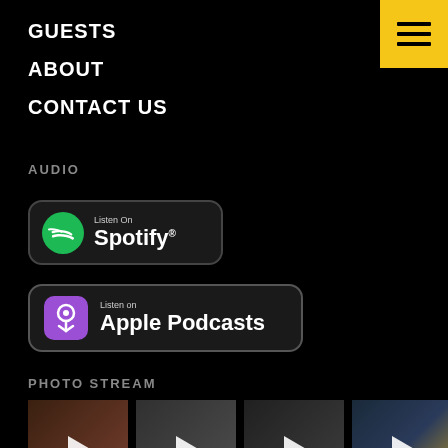GUESTS
ABOUT
CONTACT US
AUDIO
[Figure (logo): Listen On Spotify button badge]
[Figure (logo): Listen on Apple Podcasts button badge]
PHOTO STREAM
[Figure (photo): Grid of 8 video thumbnails with play buttons, 4 columns x 2 rows]